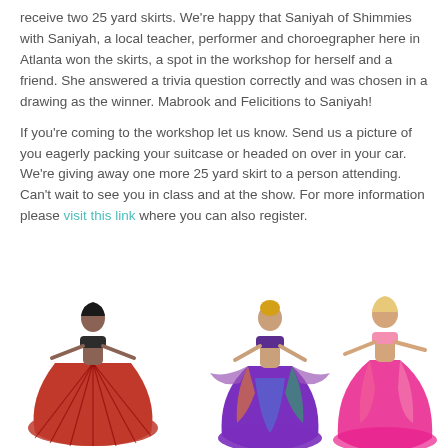receive two 25 yard skirts. We're happy that Saniyah of Shimmies with Saniyah, a local teacher, performer and choroegrapher here in Atlanta won the skirts, a spot in the workshop for herself and a friend. She answered a trivia question correctly and was chosen in a drawing as the winner. Mabrook and Felicitions to Saniyah!
If you're coming to the workshop let us know. Send us a picture of you eagerly packing your suitcase or headed on over in your car. We're giving away one more 25 yard skirt to a person attending. Can't wait to see you in class and at the show. For more information please visit this link where you can also register.
[Figure (photo): Four belly dancers wearing colorful 25-yard skirts: first dancer in red skirt, second in purple/multicolor skirt, third in pink skirt, fourth group of two dancers in purple and red skirts.]